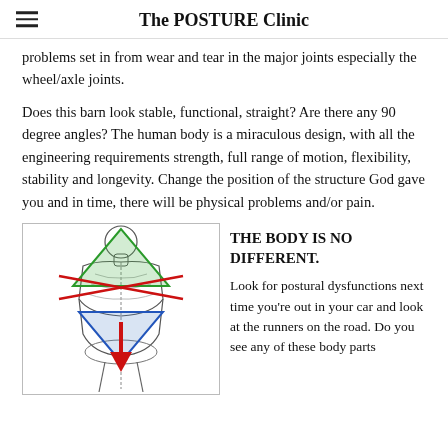The POSTURE Clinic
problems set in from wear and tear in the major joints especially the wheel/axle joints.
Does this barn look stable, functional, straight?  Are there any 90 degree angles?  The human body is a miraculous design, with all the engineering requirements strength, full range of motion, flexibility, stability and longevity.  Change the position of the structure God gave you and in time, there will be physical problems and/or pain.
[Figure (illustration): Anatomical illustration of the human body from the back/front showing the spine and musculature with geometric overlays: a green downward-pointing triangle over the upper body/shoulders/head area, a blue upward-pointing triangle over the lower torso/pelvis, red diagonal lines crossing at the shoulder level, and a large red downward-pointing arrow over the mid-spine region.]
THE BODY IS NO DIFFERENT.
Look for  postural dysfunctions next time you're out in your car and look at the runners on the road.  Do you see any of these body parts